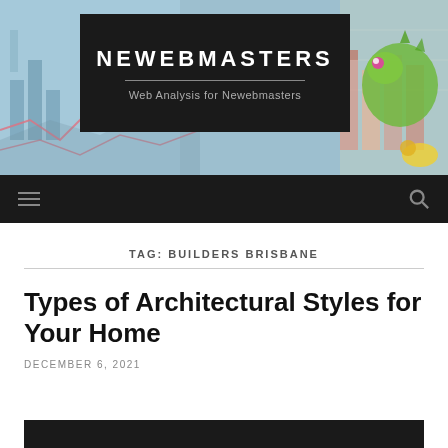[Figure (screenshot): Website header banner with chart/graph background image and a chameleon/monster illustration on the right side]
NEWEBMASTERS
Web Analysis for Newebmasters
Navigation bar with hamburger menu icon and search icon
TAG: BUILDERS BRISBANE
Types of Architectural Styles for Your Home
DECEMBER 6, 2021